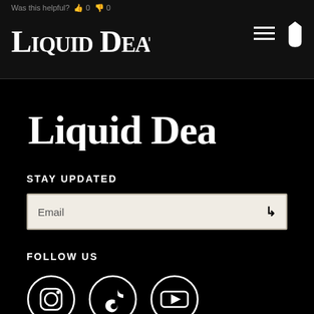Was this helpful? 0 0
[Figure (logo): Liquid Death brand logo in black background header bar, white gothic blackletter font]
[Figure (logo): Liquid Death brand logo large, white gothic blackletter font on black background]
STAY UPDATED
Email (input field with arrow submit button)
FOLLOW US
[Figure (illustration): Social media icons: Instagram, TikTok, YouTube — white outlined circles on black background]